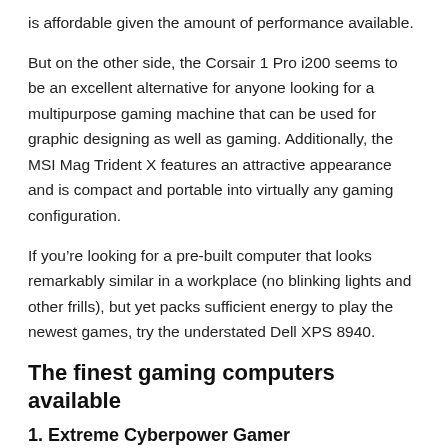is affordable given the amount of performance available.
But on the other side, the Corsair 1 Pro i200 seems to be an excellent alternative for anyone looking for a multipurpose gaming machine that can be used for graphic designing as well as gaming. Additionally, the MSI Mag Trident X features an attractive appearance and is compact and portable into virtually any gaming configuration.
If you’re looking for a pre-built computer that looks remarkably similar in a workplace (no blinking lights and other frills), but yet packs sufficient energy to play the newest games, try the understated Dell XPS 8940.
The finest gaming computers available
1. Extreme Cyberpower Gamer
Whether you’re looking for a pre-built desktop or a...